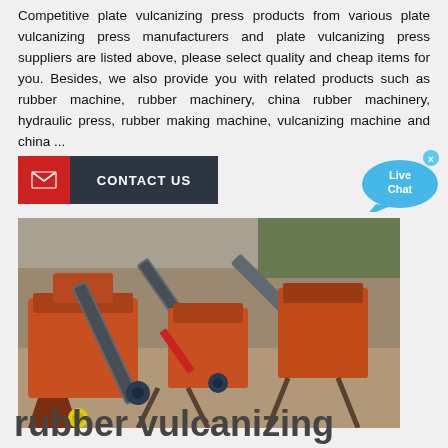Competitive plate vulcanizing press products from various plate vulcanizing press manufacturers and plate vulcanizing press suppliers are listed above, please select quality and cheap items for you. Besides, we also provide you with related products such as rubber machine, rubber machinery, china rubber machinery, hydraulic press, rubber making machine, vulcanizing machine and china ...
[Figure (other): Contact Us button with red envelope icon on left and dark grey background with white text]
[Figure (other): Live Chat speech bubble widget in blue]
[Figure (photo): Industrial rubber/aggregate processing machinery with conveyor belts and orange-colored equipment on a worksite]
rubber vulcanizing